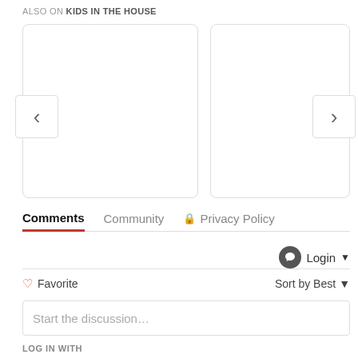ALSO ON KIDS IN THE HOUSE
[Figure (screenshot): Carousel with two card placeholders and left/right navigation arrows]
Comments   Community   🔒 Privacy Policy
💬 Login ▾
🤍 Favorite   Sort by Best ▾
Start the discussion…
LOG IN WITH